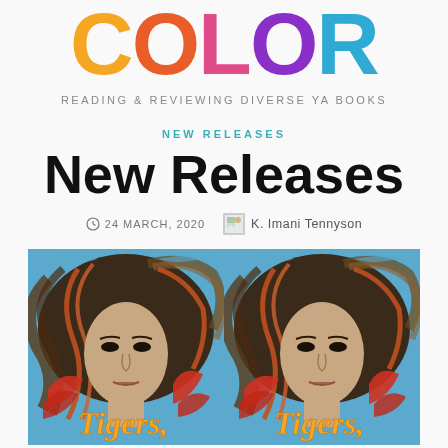COLOR - READING & REVIEWING DIVERSE YA BOOKS
NEW RELEASES
New Releases
24 MARCH, 2020   K. Imani Tennyson
[Figure (photo): Two identical book covers side by side for 'Tigers' — illustrated portrait of a young woman with flowing hair in blue and orange tones with tropical foliage, title written in gold script at bottom]